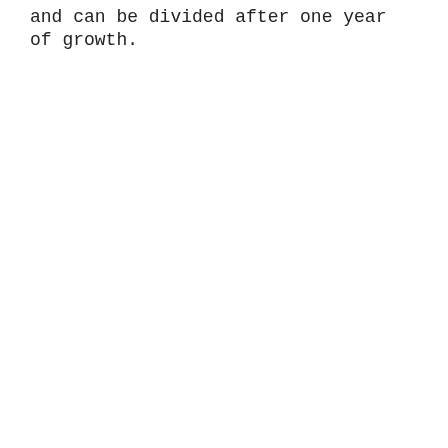and can be divided after one year of growth.